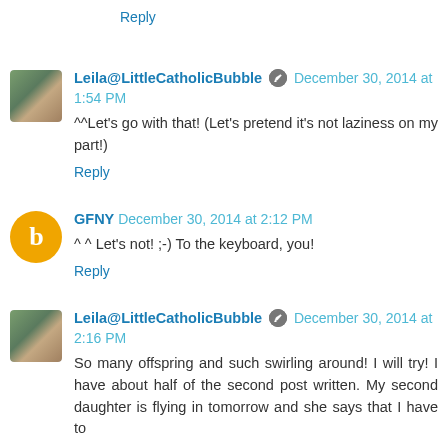Reply
Leila@LittleCatholicBubble [edit icon] December 30, 2014 at 1:54 PM
^^Let's go with that! (Let's pretend it's not laziness on my part!)
Reply
GFNY December 30, 2014 at 2:12 PM
^ ^ Let's not! ;-) To the keyboard, you!
Reply
Leila@LittleCatholicBubble [edit icon] December 30, 2014 at 2:16 PM
So many offspring and such swirling around! I will try! I have about half of the second post written. My second daughter is flying in tomorrow and she says that I have to